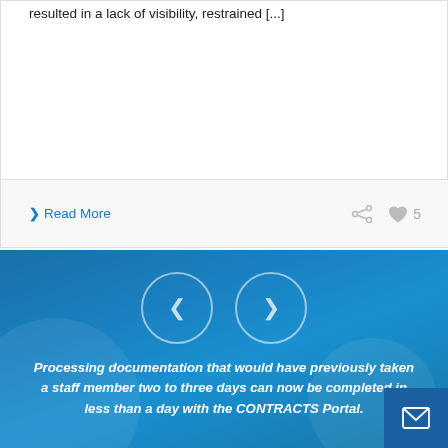resulted in a lack of visibility, restrained [...]
Read More
[Figure (screenshot): Navigation carousel with left and right arrow circle buttons on a blue textured background]
Processing documentation that would have previously taken a staff member two to three days can now be completed in less than a day with the CONTRACTS Portal.